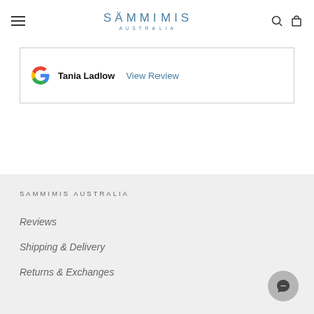SÄMMIMIS AUSTRALIA
Tania Ladlow  View Review
SAMMIMIS AUSTRALIA
Reviews
Shipping & Delivery
Returns & Exchanges